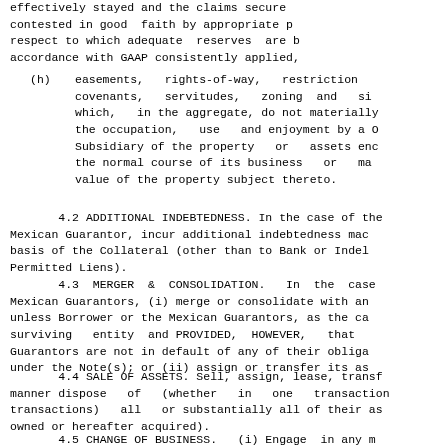effectively stayed and the claims secured thereby are being contested in good faith by appropriate proceedings and with respect to which adequate reserves are being maintained in accordance with GAAP consistently applied,
(h) easements, rights-of-way, restrictions, covenants, servitudes, zoning and similar encumbrances which, in the aggregate, do not materially interfere with the occupation, use and enjoyment by a Obligor or Subsidiary of the property or assets encumbered thereby in the normal course of its business or materially impair the value of the property subject thereto.
4.2 ADDITIONAL INDEBTEDNESS. In the case of the Mexican Guarantor, incur additional indebtedness made on the basis of the Collateral (other than to Bank or Indebtedness Permitted Liens).
4.3 MERGER & CONSOLIDATION. In the case of the Mexican Guarantors, (i) merge or consolidate with any Person unless Borrower or the Mexican Guarantors, as the case, is the surviving entity and PROVIDED, HOWEVER, that Borrower or Guarantors are not in default of any of their obligations under the Note(s); or (ii) assign or transfer its assets.
4.4 SALE OF ASSETS. Sell, assign, lease, transfer or in any manner dispose of (whether in one transaction or a series of transactions) all or substantially all of their assets (whether owned or hereafter acquired).
4.5 CHANGE OF BUSINESS. (i) Engage in any manner